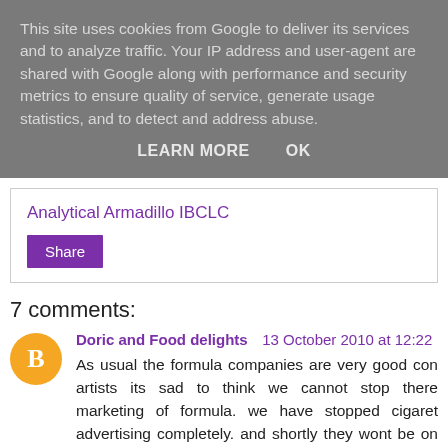This site uses cookies from Google to deliver its services and to analyze traffic. Your IP address and user-agent are shared with Google along with performance and security metrics to ensure quality of service, generate usage statistics, and to detect and address abuse.
LEARN MORE   OK
Analytical Armadillo IBCLC
Share
7 comments:
Doric and Food delights  13 October 2010 at 12:22
As usual the formula companies are very good con artists its sad to think we cannot stop there marketing of formula. we have stopped cigaret advertising completely. and shortly they wont be on display in shops. why not do the same to formula or put it on prescription so that a lactation